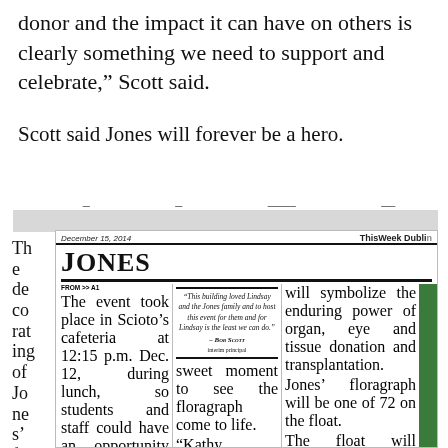donor and the impact it can have on others is clearly something we need to support and celebrate," Scott said.
Scott said Jones will forever be a hero.
[Figure (screenshot): Newspaper clipping from ThisWeek Dublin, December 15, 2014, showing article about Jones' floragraph with columns of text including a pull quote from Bob Scott, interim principal.]